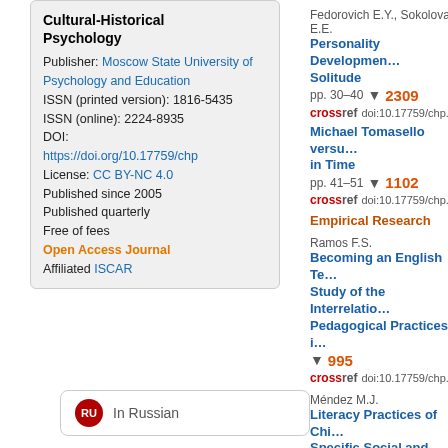Cultural-Historical Psychology
Publisher: Moscow State University of Psychology and Education
ISSN (printed version): 1816-5435
ISSN (online): 2224-8935
DOI: https://doi.org/10.17759/chp
License: CC BY-NC 4.0
Published since 2005
Published quarterly
Free of fees
Open Access Journal
Affiliated ISCAR
In Russian
Empirical Research
Fedorovich E.Y., Sokolova E.E.
Personality Development... Solitude pp. 30–40 2309
doi:10.17759/chp.2018...
Michael Tomasello versus... in Time pp. 41–51 1102
doi:10.17759/chp.2018...
Ramos F.S.
Becoming an English Te... Study of the Interrelation... Pedagogical Practices i... 995
doi:10.17759/chp.2018...
Méndez M.J.
Literacy Practices of Chi... Specific Social and Cultu... Social Practices pp. 59–64
doi:10.17759/chp.2018...
Nozikova N.V.
Analyzing the Functiona... Psychosemantic System... Families pp. 65–77 605
doi:10.17759/chp.2018...